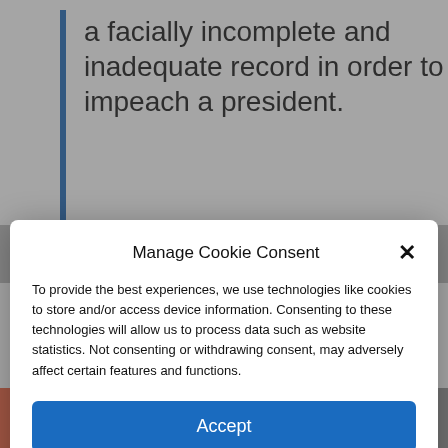a facially incomplete and inadequate record in order to impeach a president.
Manage Cookie Consent
To provide the best experiences, we use technologies like cookies to store and/or access device information. Consenting to these technologies will allow us to process data such as website statistics. Not consenting or withdrawing consent, may adversely affect certain features and functions.
Accept
Cookie Policy  Privacy Policy
Hamilton, a period of agitated